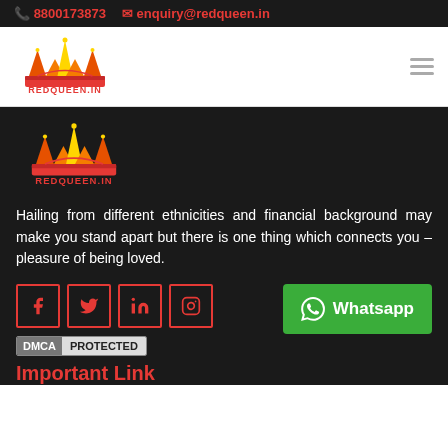📞 8800173873  ✉ enquiry@redqueen.in
[Figure (logo): Red Queen crown logo with text REDQUEEN.IN in red, shown in white nav bar]
[Figure (logo): Red Queen crown logo with text REDQUEEN.IN in red, shown on dark background]
Hailing from different ethnicities and financial background may make you stand apart but there is one thing which connects you – pleasure of being loved.
[Figure (infographic): Social media icons: Facebook, Twitter, LinkedIn, Instagram in red bordered boxes; WhatsApp green button; DMCA Protected badge]
Important Link